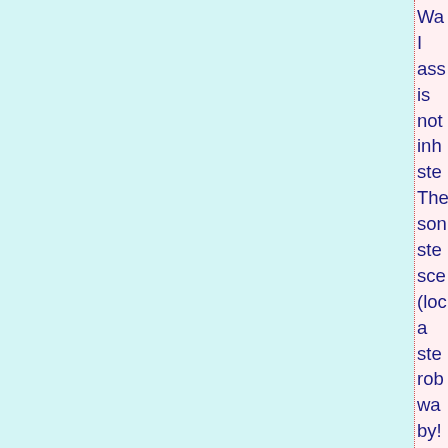Wa I ass is not inh ste The son ste sce (loc a ste rob wa by! but it isn' rele to the